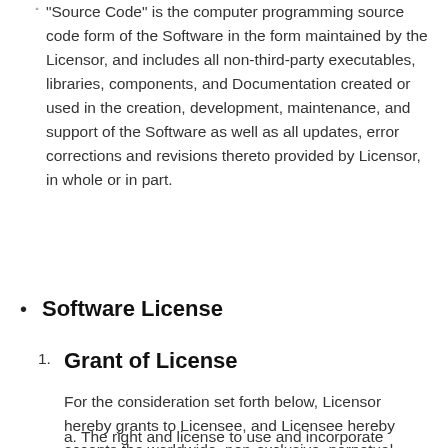"Source Code" is the computer programming source code form of the Software in the form maintained by the Licensor, and includes all non-third-party executables, libraries, components, and Documentation created or used in the creation, development, maintenance, and support of the Software as well as all updates, error corrections and revisions thereto provided by Licensor, in whole or in part.
Software License
1. Grant of License
For the consideration set forth below, Licensor hereby grants to Licensee, and Licensee hereby accepts the worldwide, non-exclusive, perpetual, royalty-free rights and licenses set forth below:
a. The right and license to use and incorporate